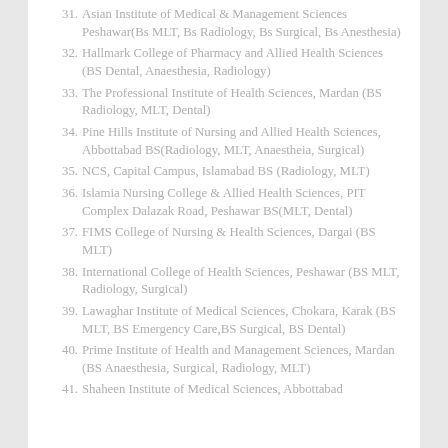31. Asian Institute of Medical & Management Sciences Peshawar(Bs MLT, Bs Radiology, Bs Surgical, Bs Anesthesia)
32. Hallmark College of Pharmacy and Allied Health Sciences (BS Dental, Anaesthesia, Radiology)
33. The Professional Institute of Health Sciences, Mardan (BS Radiology, MLT, Dental)
34. Pine Hills Institute of Nursing and Allied Health Sciences, Abbottabad BS(Radiology, MLT, Anaestheia, Surgical)
35. NCS, Capital Campus, Islamabad BS (Radiology, MLT)
36. Islamia Nursing College & Allied Health Sciences, PIT Complex Dalazak Road, Peshawar BS(MLT, Dental)
37. FIMS College of Nursing & Health Sciences, Dargai (BS MLT)
38. International College of Health Sciences, Peshawar (BS MLT, Radiology, Surgical)
39. Lawaghar Institute of Medical Sciences, Chokara, Karak (BS MLT, BS Emergency Care, BS Surgical, BS Dental)
40. Prime Institute of Health and Management Sciences, Mardan (BS Anaesthesia, Surgical, Radiology, MLT)
41. Shaheen Institute of Medical Sciences, Abbottabad